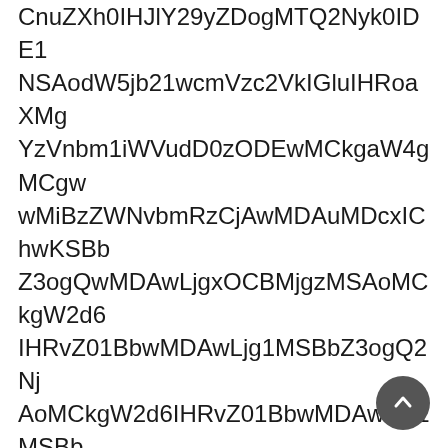CnuZXh0IHJlY29yZDogMTQ2Nyk0IDE1NSAodW5jb21wcmVzc2VkIGluIHRoaXMgYzVnbm1iWVudD0zODEwMCkgaW4gMCgwwMiBzZWNvbmRzCjAwMDAuMDcxIChwKSBbZ3ogQwMDAwLjgxOCBMjgzMSAoMCkgW2d6IHRvZ01BbwMDAwLjg1MSBbZ3ogQ2NjAoMCkgW2d6IHRvZ01BbwMDAwLjg1MSBbZ3ogQ2NjAoMCkgW2d6IHQwgYm93MDAwLjg5MSBbZ3ogQm93MDAwLjg5MiBbZ3ogQNjAoMCkgW2d6IGJoZEdOoIChuZXh0IHJlY29yZCBbZ3ogQNjAoMCkgW2d6IHRvZ01BbwMDAwLjg1MSBbZ3ogQ2NjAoMCkgW2d6IHRvZ01BbwMDAwLjg1MSBbZ3ogQ2NjAoMCkgW2dyZGNoYZGRlIGJhdGNoIGNodVpYh0IHJlY29yZCBbZ3ogQEpOiAwIChmcmFtZSBjb249MDAwLjg1MSBbZ3ogQ2VmXByZXZpZXcgZXhwYXJzZSBbZ3ogQMDEgc28gbWVtb3J5aW5nIHB5WlpYh0IHJlY29yZCBbZ3ogQKDlsIDAuTlAoMCkgYVGFibUdGibGUuWlpYh0IHJlY29yZCBbZ3ogQGluZVZvbHVtZXMgYmxhY2sgYW5kIHdoaXRlIGluIEdaW9jaW5nIGN5YnNpY2thbGx5IG9uIGEgZGF0YWJhc2Ugb2Yga2V5IHdvcmQgc3RydWN0dXJlcwogICBJRlJoWWd4bElIZHdlR1ZmYzlzdEdHR2xIRkZ2dHFodHJlc0lHVjRjVG90YWphcVZrWVZ3dHlWQnpZbm90WVdzelVGdEdMaW1sdEhkd2VHVmZjOXN0R0dHbElGUnZkR0ZzSUdWNGNH